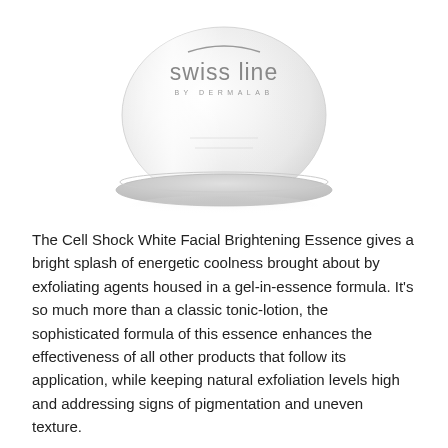[Figure (photo): Swiss Line by Dermalab product bottle (glass jar with curved base), showing the brand logo with arc above 'swiss line' text and 'BY DERMALAB' subtitle, photographed on white background with subtle reflection]
The Cell Shock White Facial Brightening Essence gives a bright splash of energetic coolness brought about by exfoliating agents housed in a gel-in-essence formula. It's so much more than a classic tonic-lotion, the sophisticated formula of this essence enhances the effectiveness of all other products that follow its application, while keeping natural exfoliation levels high and addressing signs of pigmentation and uneven texture.